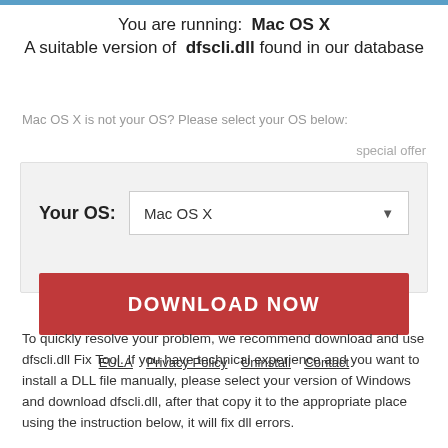You are running:  Mac OS X
A suitable version of  dfscli.dll found in our database
Mac OS X is not your OS? Please select your OS below:
special offer
Your OS:  Mac OS X
DOWNLOAD NOW
EULA   Privacy Policy   Uninstall   Contact
To quickly resolve your problem, we recommend download and use dfscli.dll Fix Tool. If you have technical experience and you want to install a DLL file manually, please select your version of Windows and download dfscli.dll, after that copy it to the appropriate place using the instruction below, it will fix dll errors.